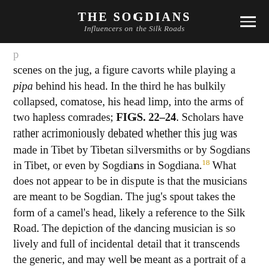THE SOGDIANS
Influencers on the Silk Roads
scenes on the jug, a figure cavorts while playing a pipa behind his head. In the third he has bulkily collapsed, comatose, his head limp, into the arms of two hapless comrades; FIGS. 22–24. Scholars have rather acrimoniously debated whether this jug was made in Tibet by Tibetan silversmiths or by Sogdians in Tibet, or even by Sogdians in Sogdiana.18 What does not appear to be in dispute is that the musicians are meant to be Sogdian. The jug's spout takes the form of a camel's head, likely a reference to the Silk Road. The depiction of the dancing musician is so lively and full of incidental detail that it transcends the generic, and may well be meant as a portrait of a historical figure. The jug was presumably for wine, with its images a visual paraphrase of the drink's intoxicating effects. Associated with Songtsen Gampo, it reflects his interest in imbibing